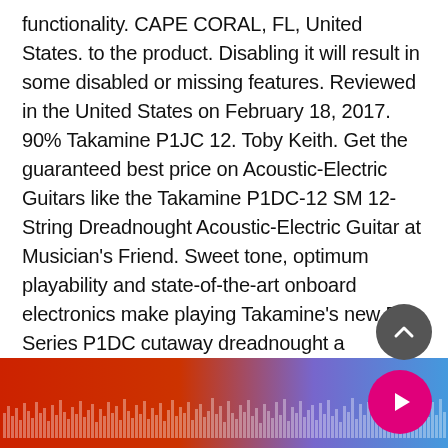functionality. CAPE CORAL, FL, United States. to the product. Disabling it will result in some disabled or missing features. Reviewed in the United States on February 18, 2017. 90% Takamine P1JC 12. Toby Keith. Get the guaranteed best price on Acoustic-Electric Guitars like the Takamine P1DC-12 SM 12-String Dreadnought Acoustic-Electric Guitar at Musician's Friend. Sweet tone, optimum playability and state-of-the-art onboard electronics make playing Takamine's new Pro Series P1DC cutaway dreadnought a thoroughly rewarding acoustic experience. The Takamine GD20-NS Dreadnought Natural Acoustic is well-known for its luxurious appearance; this design of a dreadnought-styl
[Figure (other): Audio waveform bar at the bottom of the screen with red to blue gradient colors and vertical bar visualizer lines]
[Figure (other): Dark grey circular scroll-to-top button with upward chevron arrow]
[Figure (other): Magenta/pink circular play button with right-pointing triangle]